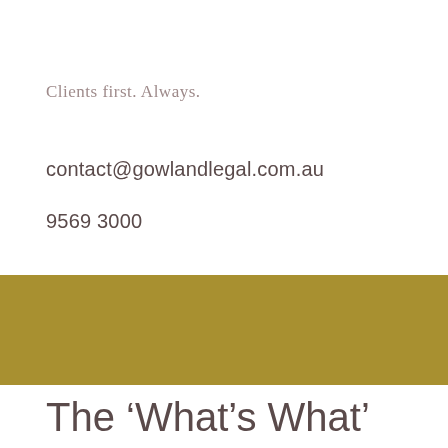Clients first. Always.
contact@gowlandlegal.com.au
9569 3000
[Figure (other): Gold/olive colored horizontal banner bar]
The ‘What’s What’